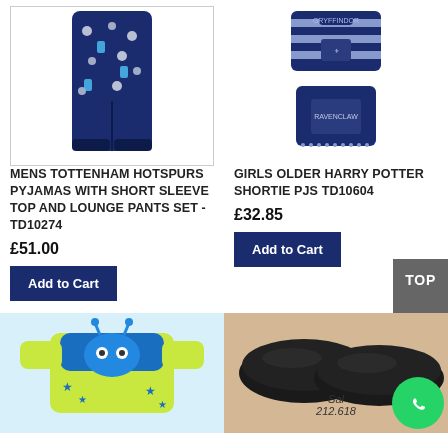[Figure (photo): Mens Tottenham Hotspurs pyjama lounge pants on white background with border]
MENS TOTTENHAM HOTSPURS PYJAMAS WITH SHORT SLEEVE TOP AND LOUNGE PANTS SET - TD10274
£51.00
Add to Cart
[Figure (photo): Girls Harry Potter Ravenclaw shortie pyjama set (top and shorts) on white background]
GIRLS OLDER HARRY POTTER SHORTIE PJS TD10604
£32.85
Add to Cart
TOP
[Figure (photo): Blue and yellow children's pyjama top with monster/alien design and stars]
[Figure (photo): Black leather shoes on tan/beige background with text 'Sal 212.618']
Sal
212.618